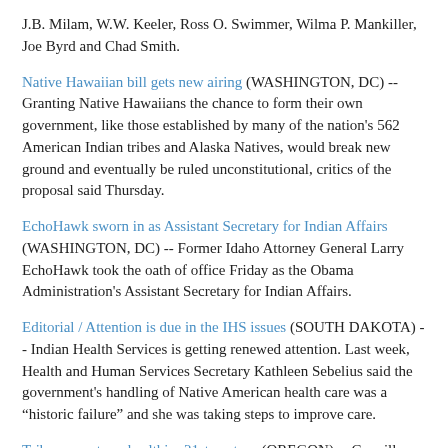J.B. Milam, W.W. Keeler, Ross O. Swimmer, Wilma P. Mankiller, Joe Byrd and Chad Smith.
Native Hawaiian bill gets new airing (WASHINGTON, DC) -- Granting Native Hawaiians the chance to form their own government, like those established by many of the nation’s 562 American Indian tribes and Alaska Natives, would break new ground and eventually be ruled unconstitutional, critics of the proposal said Thursday.
EchoHawk sworn in as Assistant Secretary for Indian Affairs (WASHINGTON, DC) -- Former Idaho Attorney General Larry EchoHawk took the oath of office Friday as the Obama Administration's Assistant Secretary for Indian Affairs.
Editorial / Attention is due in the IHS issues (SOUTH DAKOTA) -- Indian Health Services is getting renewed attention. Last week, Health and Human Services Secretary Kathleen Sebelius said the government’s handling of Native American health care was a “historic failure” and she was taking steps to improve care.
Tribe promotes a healthier 21st century (OREGON) -- Coquille